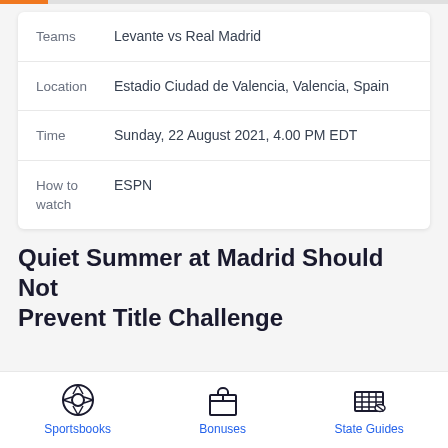|  |  |
| --- | --- |
| Teams | Levante vs Real Madrid |
| Location | Estadio Ciudad de Valencia, Valencia, Spain |
| Time | Sunday, 22 August 2021, 4.00 PM EDT |
| How to watch | ESPN |
Quiet Summer at Madrid Should Not Prevent Title Challenge
Sportsbooks  Bonuses  State Guides